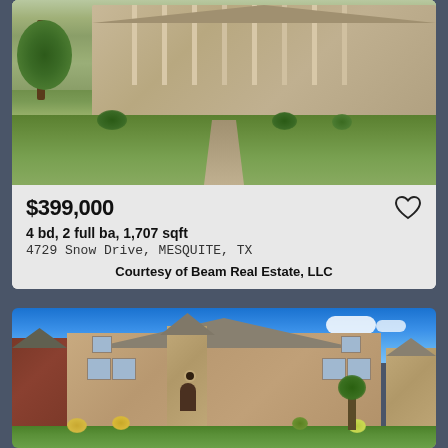[Figure (photo): Exterior photo of a single-story brick house with large tree on left, green lawn, and concrete walkway leading to front door]
$399,000
4 bd, 2 full ba, 1,707 sqft
4729 Snow Drive, MESQUITE, TX
Courtesy of Beam Real Estate, LLC
[Figure (photo): Exterior photo of a large two-story brick home with blue sky background, manicured front yard with bushes and trees, and neighboring homes visible on sides]